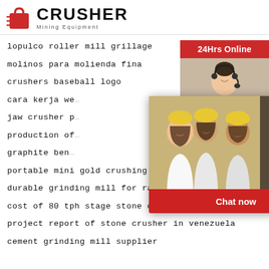[Figure (logo): Crusher Mining Equipment logo with red shopping bag icon and bold CRUSHER text]
lopulco roller mill grillage
molinos para molienda fina
crushers baseball logo
cara kerja we...
jaw crusher p...
production of...
graphite ben...
portable mini gold crushing and washing mach...
durable grinding mill for raw material grinding...
cost of 80 tph stage stone crusher plant in ind...
project report of stone crusher in venezuela
cement grinding mill supplier
[Figure (screenshot): Live Chat popup overlay with workers photo, LIVE CHAT text in red, Chat now and Chat later buttons]
[Figure (screenshot): Right sidebar with 24Hrs Online banner, customer service photo, Need questions & suggestion, Chat Now button, Enquiry link, limingjlmofen@sina.com contact]